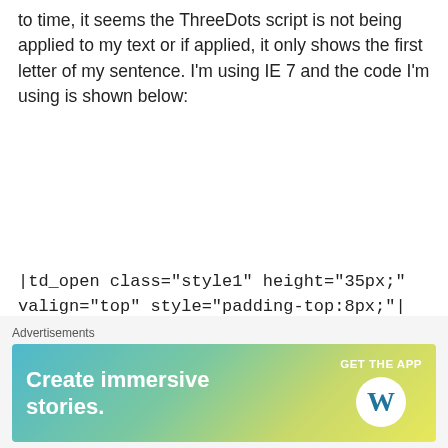to time, it seems the ThreeDots script is not being applied to my text or if applied, it only shows the first letter of my sentence. I'm using IE 7 and the code I'm using is shown below:
|td_open class="style1" height="35px;" valign="top" style="padding-top:8px;"| |a_open style="color:114477" href="#" target="_top"||div_tag class="text_here" threedots='Lorem ipsum dolor sit amet, consectetur adipisicing elit, sed do' style="width:155px;"||span_tag class='ellipsis_text'|Lorem ipsum dolor sit amet, consectetur adipisicing elit, sed
Advertisements
[Figure (infographic): WordPress advertisement banner with gradient background (teal to yellow-green). Left side: 'Create immersive stories.' in white bold text. Right side: 'GET THE APP' label with WordPress logo (W in circle).]